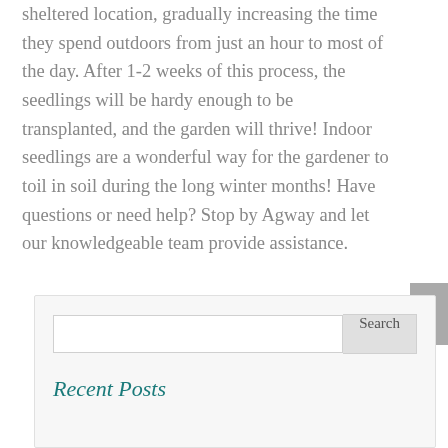sheltered location, gradually increasing the time they spend outdoors from just an hour to most of the day. After 1-2 weeks of this process, the seedlings will be hardy enough to be transplanted, and the garden will thrive! Indoor seedlings are a wonderful way for the gardener to toil in soil during the long winter months!  Have questions or need help?  Stop by Agway and let our knowledgeable team provide assistance.
Recent Posts